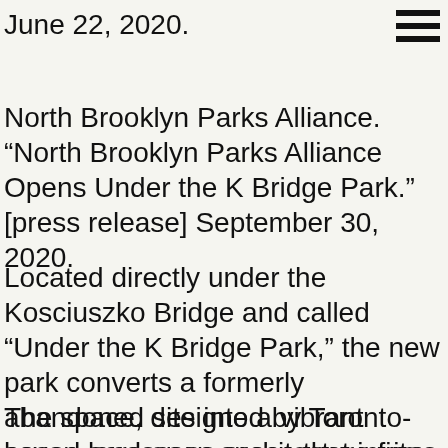June 22, 2020.
North Brooklyn Parks Alliance. “North Brooklyn Parks Alliance Opens Under the K Bridge Park.” [press release] September 30, 2020.
Located directly under the Kosciuszko Bridge and called “Under the K Bridge Park,” the new park converts a formerly abandoned site into a vibrant seven-acre open space that invites the public to a little-known waterfront of Newtown Creek.
The space, designed by Toronto- based landscape architecture firm PUBLIC WORK